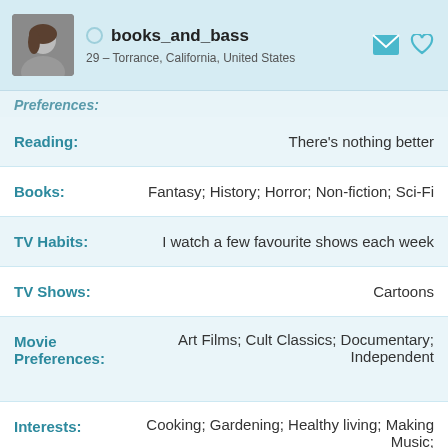books_and_bass
29 – Torrance, California, United States
Preferences:
| Label | Value |
| --- | --- |
| Reading: | There's nothing better |
| Books: | Fantasy; History; Horror; Non-fiction; Sci-Fi |
| TV Habits: | I watch a few favourite shows each week |
| TV Shows: | Cartoons |
| Movie Preferences: | Art Films; Cult Classics; Documentary; Independent |
| Interests: | Cooking; Gardening; Healthy living; Making Music; Reading; Surfing the Internet; Writing poetry |
| Sports: | Cycling; Hiking |